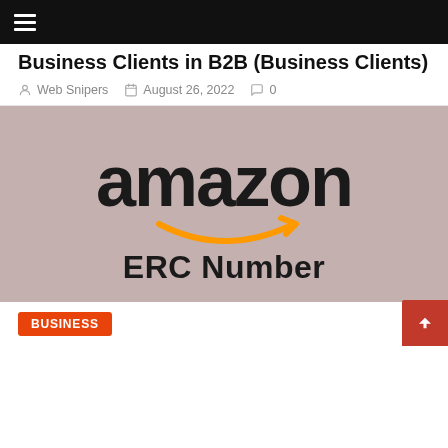Navigation bar with hamburger menu
Business Clients in B2B (Business Clients)
Web Snipers  August 26, 2022  0
[Figure (logo): Amazon ERC Number logo on a mauve/pink-grey background. Shows the word 'amazon' in bold black lowercase letters with the orange smile/arrow logo beneath it, and 'ERC Number' in bold black text below.]
BUSINESS